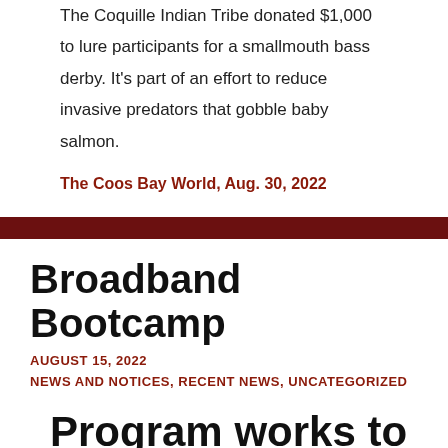The Coquille Indian Tribe donated $1,000 to lure participants for a smallmouth bass derby. It's part of an effort to reduce invasive predators that gobble baby salmon.
The Coos Bay World, Aug. 30, 2022
Broadband Bootcamp
AUGUST 15, 2022
NEWS AND NOTICES, RECENT NEWS, UNCATEGORIZED
Program works to